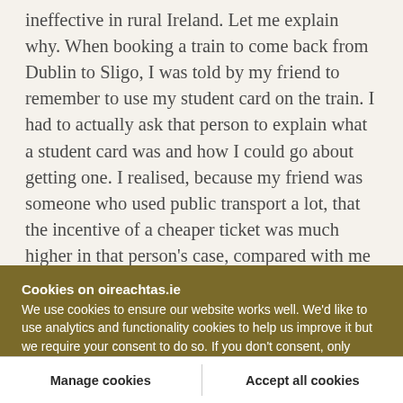ineffective in rural Ireland. Let me explain why. When booking a train to come back from Dublin to Sligo, I was told by my friend to remember to use my student card on the train. I had to actually ask that person to explain what a student card was and how I could go about getting one. I realised, because my friend was someone who used public transport a lot, that the incentive of a cheaper ticket was much higher in that person's case, compared with me using a train in Ireland for the first time. Recently,
Cookies on oireachtas.ie
We use cookies to ensure our website works well. We'd like to use analytics and functionality cookies to help us improve it but we require your consent to do so. If you don't consent, only necessary cookies will be used. Read more about our cookies
Manage cookies
Accept all cookies